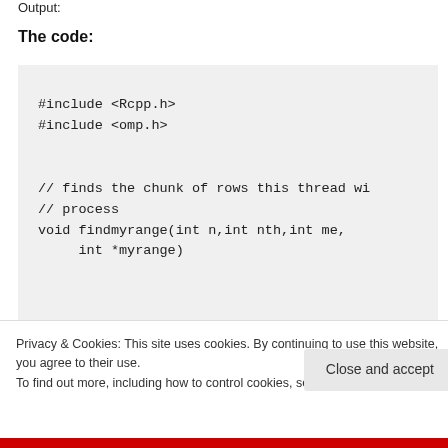Output:
The code:
#include <Rcpp.h>
#include <omp.h>

// finds the chunk of rows this thread wi
// process
void findmyrange(int n,int nth,int me,
     int *myrange)
Privacy & Cookies: This site uses cookies. By continuing to use this website, you agree to their use.
To find out more, including how to control cookies, see here: Cookie Policy